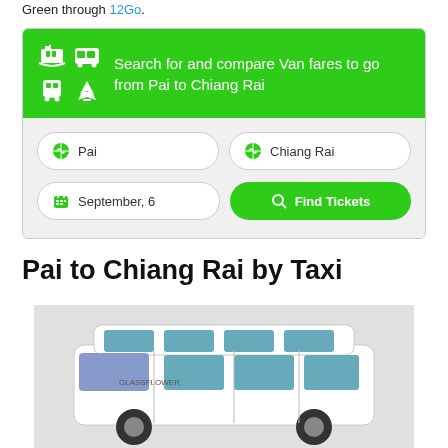Green through 12Go.
[Figure (screenshot): Search widget for Van fares from Pai to Chiang Rai, with transport icons, origin/destination inputs, date picker, and Find Tickets button]
Pai to Chiang Rai by Taxi
[Figure (photo): White minivan taxi with Glassflower branding parked, showing side profile with windows and signage]